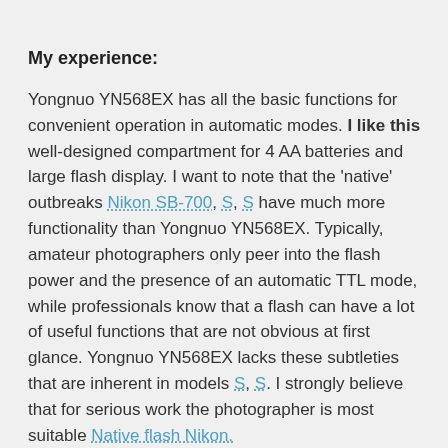My experience:
Yongnuo YN568EX has all the basic functions for convenient operation in automatic modes. I like this well-designed compartment for 4 AA batteries and large flash display. I want to note that the 'native' outbreaks Nikon SB-700, S, S have much more functionality than Yongnuo YN568EX. Typically, amateur photographers only peer into the flash power and the presence of an automatic TTL mode, while professionals know that a flash can have a lot of useful functions that are not obvious at first glance. Yongnuo YN568EX lacks these subtleties that are inherent in models S, S. I strongly believe that for serious work the photographer is most suitable Native flash Nikon.